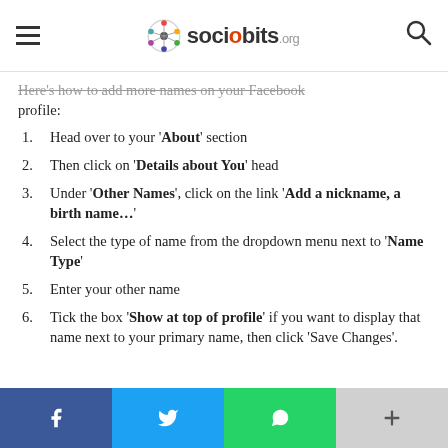sociobits.org
Here's how to add more names on your Facebook profile:
Head over to your 'About' section
Then click on 'Details about You' head
Under 'Other Names', click on the link 'Add a nickname, a birth name…'
Select the type of name from the dropdown menu next to 'Name Type'
Enter your other name
Tick the box 'Show at top of profile' if you want to display that name next to your primary name, then click 'Save Changes'.